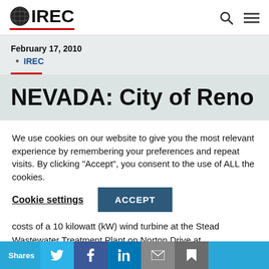IREC
February 17, 2010
IREC
NEVADA: City of Reno
We use cookies on our website to give you the most relevant experience by remembering your preferences and repeat visits. By clicking “Accept”, you consent to the use of ALL the cookies.
Cookie settings  ACCEPT
costs of a 10 kilowatt (kW) wind turbine at the Stead Wastewater Treatment Plant on Norton Drive at
Shares